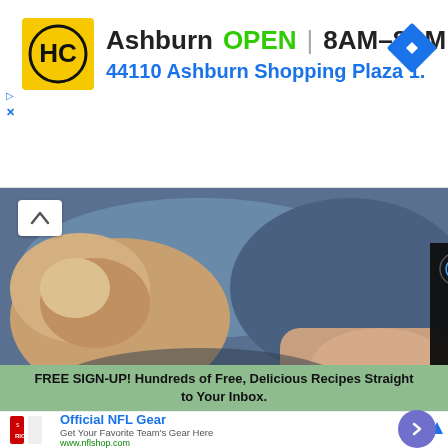[Figure (screenshot): HC Harvest Center advertisement banner: yellow square logo with HC initials, text 'Ashburn OPEN 8AM-8PM' and '44110 Ashburn Shopping Plaza 1.' with navigation arrow icon]
[Figure (photo): Close-up photo of a dog resting, showing fur and a human hand, with a video overlay panel showing play controls and mute icon]
Your aging dog has [text continues] feed them.
Hill's Pet
FREE SIGN-UP! Hundreds of Free, Delicious Recipes Straight to Your Inbox.
[Figure (screenshot): Official NFL Gear advertisement: NFL jersey image on left, text 'Official NFL Gear - Get Your Favorite Team's Gear Here - www.nflshop.com', blue circle button with chevron right, close X button and ad icon]